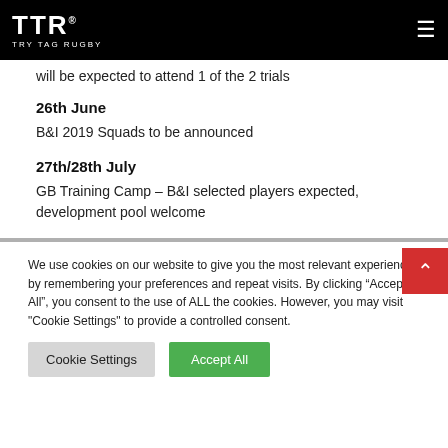TTR Try Tag Rugby
will be expected to attend 1 of the 2 trials
26th June
B&I 2019 Squads to be announced
27th/28th July
GB Training Camp – B&I selected players expected, development pool welcome
We use cookies on our website to give you the most relevant experience by remembering your preferences and repeat visits. By clicking "Accept All", you consent to the use of ALL the cookies. However, you may visit "Cookie Settings" to provide a controlled consent.